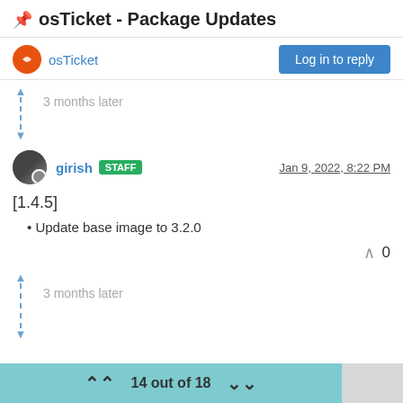osTicket - Package Updates
osTicket
3 months later
girish STAFF Jan 9, 2022, 8:22 PM
[1.4.5]
Update base image to 3.2.0
0
3 months later
14 out of 18